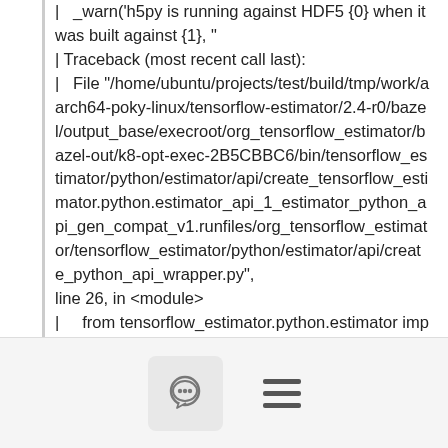|   _warn('h5py is running against HDF5 {0} when it was built against {1}, "
| Traceback (most recent call last):
|   File "/home/ubuntu/projects/test/build/tmp/work/aarch64-poky-linux/tensorflow-estimator/2.4-r0/bazel/output_base/execroot/org_tensorflow_estimator/bazel-out/k8-opt-exec-2B5CBBC6/bin/tensorflow_estimator/python/estimator/api/create_tensorflow_estimator.python.estimator_api_1_estimator_python_api_gen_compat_v1.runfiles/org_tensorflow_estimator/tensorflow_estimator/python/estimator/api/create_python_api_wrapper.py",
line 26, in <module>
|     from tensorflow_estimator.python.estimator import estimator_lib
# pylint: disable=unused-import
|   File
"/home/ubuntu/projects/test/build/tmp/work/aarch6...
[Figure (other): Bottom navigation bar with a chat bubble icon button and a hamburger menu icon]